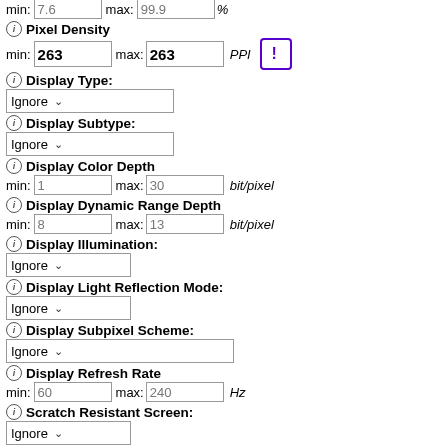min: 7.6  max: 99.9  %
Pixel Density
min: 263  max: 263  PPI  [!]
Display Type:
Ignore
Display Subtype:
Ignore
Display Color Depth
min: 1  max: 30  bit/pixel
Display Dynamic Range Depth
min: 8  max: 13  bit/pixel
Display Illumination:
Ignore
Display Light Reflection Mode:
Ignore
Display Subpixel Scheme:
Ignore
Display Refresh Rate
min: 60  max: 240  Hz
Scratch Resistant Screen:
Ignore
Secondary Display Diagonal
min: 0.7  max: 9.7  inch
Secondary Display Horizontal Resolution
min: 15  max: 1948  pixel
Secondary Display Vertical Resolution
min: 7  max: 2700  pixel